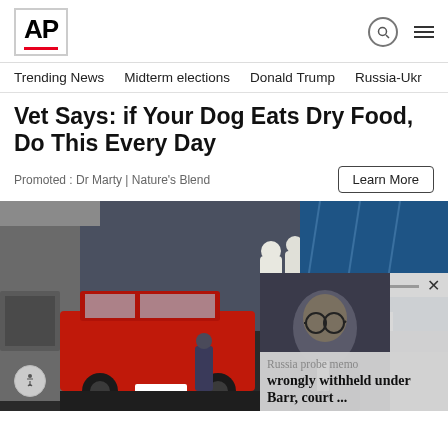AP
Trending News  |  Midterm elections  |  Donald Trump  |  Russia-Ukr
Vet Says: if Your Dog Eats Dry Food, Do This Every Day
Promoted : Dr Marty | Nature's Blend
Learn More
[Figure (photo): Crime scene investigation photo showing forensic officers in white hazmat suits near a red Mitsubishi SUV with license plate NFF111, with a blue forensic tent in the background]
Russia probe memo wrongly withheld under Barr, court ...